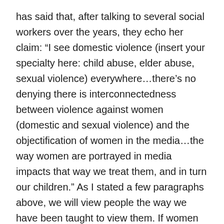has said that, after talking to several social workers over the years, they echo her claim: “I see domestic violence (insert your specialty here: child abuse, elder abuse, sexual violence) everywhere…there’s no denying there is interconnectedness between violence against women (domestic and sexual violence) and the objectification of women in the media…the way women are portrayed in media impacts that way we treat them, and in turn our children.” As I stated a few paragraphs above, we will view people the way we have been taught to view them. If women are thought of and seen as objects, that is precisely how they will be treated, and same goes for men.
Sexualization and objectification of girls in the media is also linked to mental health problems...